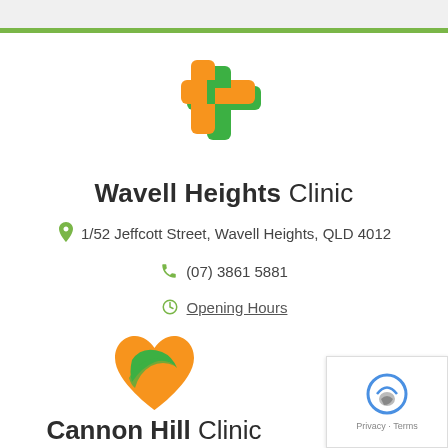[Figure (logo): Medical cross logo with orange and green overlapping plus signs]
Wavell Heights Clinic
1/52 Jeffcott Street, Wavell Heights, QLD 4012
(07) 3861 5881
Opening Hours
[Figure (logo): Orange heart with green swoosh logo for Cannon Hill Clinic]
Cannon Hill Clinic